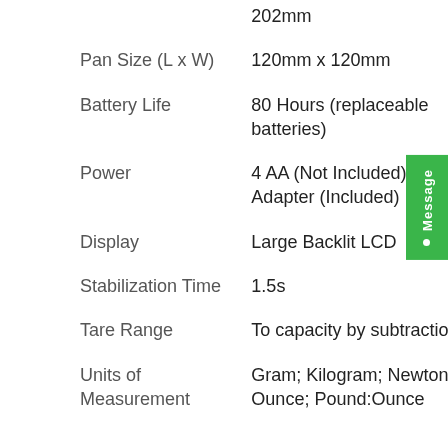| Property | Value |
| --- | --- |
|  | 202mm |
| Pan Size (L x W) | 120mm x 120mm |
| Battery Life | 80 Hours (replaceable batteries) |
| Power | 4 AA (Not Included), AC Adapter (Included) |
| Display | Large Backlit LCD |
| Stabilization Time | 1.5s |
| Tare Range | To capacity by subtraction |
| Units of Measurement | Gram; Kilogram; Newton; Ounce; Pound:Ounce |